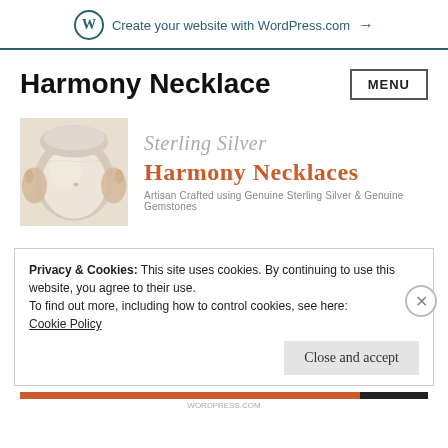Create your website with WordPress.com →
Harmony Necklace
[Figure (screenshot): Website banner showing Sterling Silver Harmony Necklaces with a pregnant belly photo on the left and decorative text on the right reading 'Sterling Silver Harmony Necklaces - Artisan Crafted using Genuine Sterling Silver & Genuine Gemstones']
Privacy & Cookies: This site uses cookies. By continuing to use this website, you agree to their use.
To find out more, including how to control cookies, see here:
Cookie Policy
Close and accept